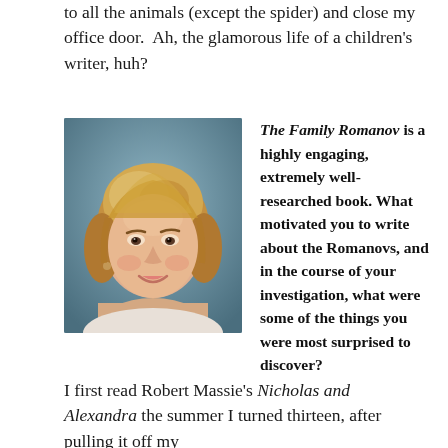to all the animals (except the spider) and close my office door.  Ah, the glamorous life of a children's writer, huh?
[Figure (photo): Portrait photo of a smiling woman with short blonde-brown layered hair, wearing a white top, against a blue-grey background.]
The Family Romanov is a highly engaging, extremely well-researched book. What motivated you to write about the Romanovs, and in the course of your investigation, what were some of the things you were most surprised to discover?
I first read Robert Massie's Nicholas and Alexandra the summer I turned thirteen, after pulling it off my